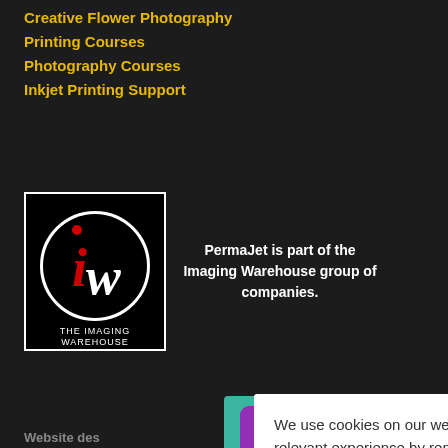Creative Flower Photography
Printing Courses
Photography Courses
Inkjet Printing Support
[Figure (logo): The Imaging Warehouse logo - circular black and white logo with 'iw' monogram and text 'THE IMAGING WAREHOUSE' at bottom]
PermaJet is part of the Imaging Warehouse group of companies.
[Figure (infographic): Social media icons row: Instagram (purple), Facebook (blue), Twitter (light blue), YouTube (light blue)]
We use cookies on our website to give you the most relevant experience by remembering your preferences and repeat visits. By clicking “Accept”, you consent to the use of ALL the cookies.
Cookie settings
ACCEPT
Website des